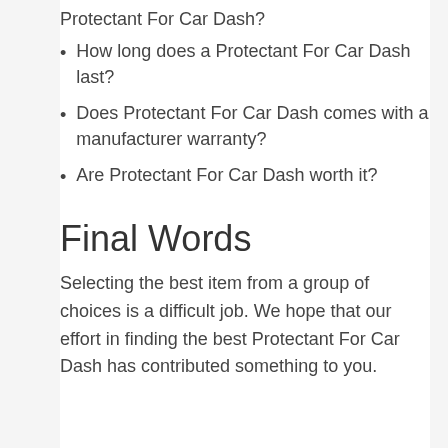Protectant For Car Dash?
How long does a Protectant For Car Dash last?
Does Protectant For Car Dash comes with a manufacturer warranty?
Are Protectant For Car Dash worth it?
Final Words
Selecting the best item from a group of choices is a difficult job. We hope that our effort in finding the best Protectant For Car Dash has contributed something to you.